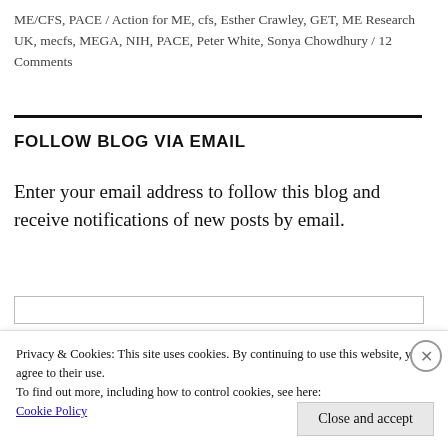ME/CFS, PACE / Action for ME, cfs, Esther Crawley, GET, ME Research UK, mecfs, MEGA, NIH, PACE, Peter White, Sonya Chowdhury / 12 Comments
FOLLOW BLOG VIA EMAIL
Enter your email address to follow this blog and receive notifications of new posts by email.
Privacy & Cookies: This site uses cookies. By continuing to use this website, you agree to their use.
To find out more, including how to control cookies, see here:
Cookie Policy
Close and accept